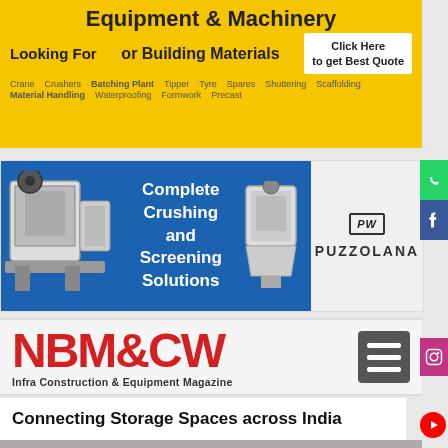[Figure (infographic): Yellow advertisement banner for Equipment & Machinery or Building Materials with tags like Crane, Crushers, Batching Plant, Tipper, Material Handling, Spares, Waterproofing, Shuttering, Formwork, Precast, Scaffolding and Click Here to get Best Quote CTA]
[Figure (infographic): Puzzolana blue advertisement banner showing Complete Crushing and Screening Solutions with crushing machine images]
[Figure (logo): NBM&CW - Infra Construction & Equipment Magazine logo with hamburger menu]
Connecting Storage Spaces across India
[Figure (photo): Portrait photo of a man against grey background]